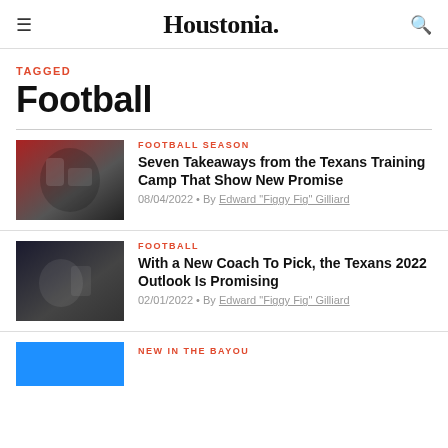Houstonia.
TAGGED
Football
FOOTBALL SEASON
Seven Takeaways from the Texans Training Camp That Show New Promise
08/04/2022 • By Edward "Figgy Fig" Gilliard
FOOTBALL
With a New Coach To Pick, the Texans 2022 Outlook Is Promising
02/01/2022 • By Edward "Figgy Fig" Gilliard
NEW IN THE BAYOU